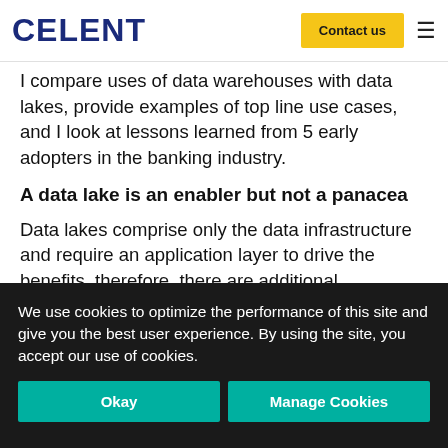CELENT | Contact us
I compare uses of data warehouses with data lakes, provide examples of top line use cases, and I look at lessons learned from 5 early adopters in the banking industry.
A data lake is an enabler but not a panacea
Data lakes comprise only the data infrastructure and require an application layer to drive the benefits, therefore, there are additional considerations depending on the application needed. For example, to enable real-time calculations the infrastructure would
We use cookies to optimize the performance of this site and give you the best user experience. By using the site, you accept our use of cookies.
Okay | Manage Cookies